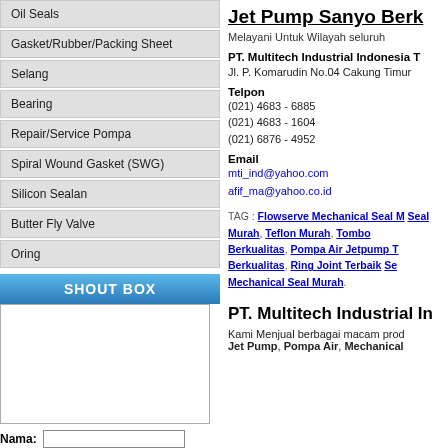Oil Seals
Gasket/Rubber/Packing Sheet
Selang
Bearing
Repair/Service Pompa
Spiral Wound Gasket (SWG)
Silicon Sealan
Butter Fly Valve
Oring
SHOUT BOX
Nama:
Jet Pump Sanyo Berk
Melayani Untuk Wilayah seluruh
PT. Multitech Industrial Indonesia T
Jl. P. Komarudin No.04 Cakung Timur
Telpon
(021) 4683 - 6885
(021) 4683 - 1604
(021) 6876 - 4952
Email
mti_ind@yahoo.com
afif_ma@yahoo.co.id
TAG : Flowserve Mechanical Seal M, Seal Murah, Teflon Murah, Tombo Berkualitas, Pompa Air Jetpump T Berkualitas, Ring Joint Terbaik, Se, Mechanical Seal Murah
PT. Multitech Industrial In
Kami Menjual berbagai macam prod
Jet Pump, Pompa Air, Mechanical